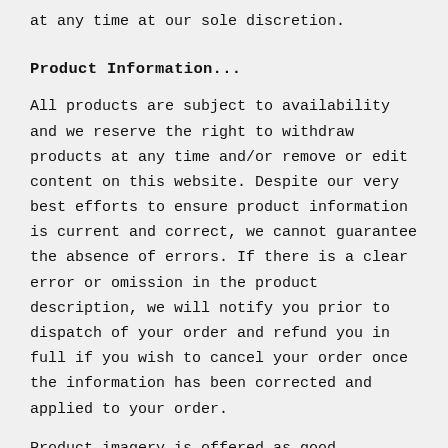at any time at our sole discretion.
Product Information...
All products are subject to availability and we reserve the right to withdraw products at any time and/or remove or edit content on this website. Despite our very best efforts to ensure product information is current and correct, we cannot guarantee the absence of errors. If there is a clear error or omission in the product description, we will notify you prior to dispatch of your order and refund you in full if you wish to cancel your order once the information has been corrected and applied to your order.
Product imagery is offered as good representation of the product but, for reasons beyond our control, we cannot be responsible for the colour accurateness of products viewed online or on printed media.
Made to order/fully personalised products may differ slightly from